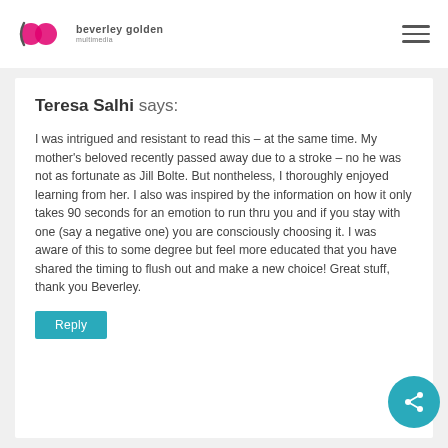beverley golden multimedia
Teresa Salhi says:
I was intrigued and resistant to read this – at the same time. My mother's beloved recently passed away due to a stroke – no he was not as fortunate as Jill Bolte. But nontheless, I thoroughly enjoyed learning from her. I also was inspired by the information on how it only takes 90 seconds for an emotion to run thru you and if you stay with one (say a negative one) you are consciously choosing it. I was aware of this to some degree but feel more educated that you have shared the timing to flush out and make a new choice! Great stuff, thank you Beverley.
Reply